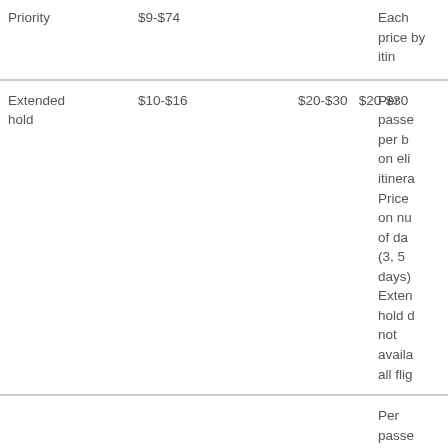|  |  |  |  |  |
| --- | --- | --- | --- | --- |
| Priority | $9-$74 |  |  | Each price by itin |
| Extended hold | $10-$16 | $20-$30 | $20-$30 | Per passe per b on eli itinera Price on nu of day (3, 5 days) Exten hold d not availa all flig |
|  |  |  |  | Per passe |